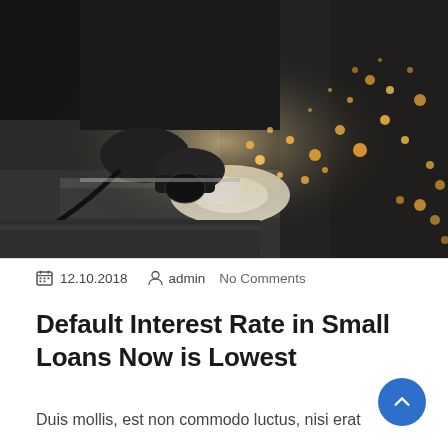[Figure (photo): A worker in dark clothing and gloves using an angle grinder on metal, with bright sparks flying in a dark workshop environment.]
📅 12.10.2018   👤 admin   No Comments
Default Interest Rate in Small Loans Now is Lowest
Duis mollis, est non commodo luctus, nisi erat